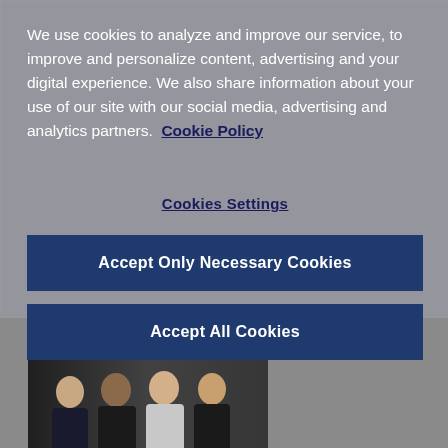Related Posts
[Figure (photo): Group photo of four women standing together in a formal setting]
APRIL 7, 2021  0
We use cookies to analyze and improve our service, to improve and personalize content, advertising and your digital experience. We also share information about your use of our site with our social media, advertising and analytics partners.  Cookie Policy
Cookies Settings
Accept Only Necessary Cookies
Accept All Cookies